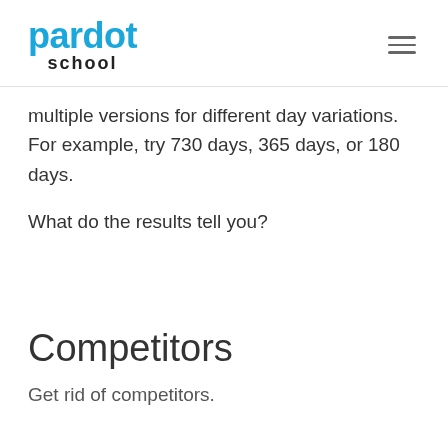pardot school
multiple versions for different day variations. For example, try 730 days, 365 days, or 180 days.
What do the results tell you?
Competitors
Get rid of competitors.